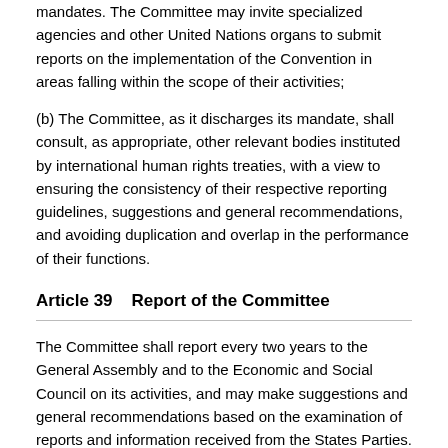mandates. The Committee may invite specialized agencies and other United Nations organs to submit reports on the implementation of the Convention in areas falling within the scope of their activities;
(b) The Committee, as it discharges its mandate, shall consult, as appropriate, other relevant bodies instituted by international human rights treaties, with a view to ensuring the consistency of their respective reporting guidelines, suggestions and general recommendations, and avoiding duplication and overlap in the performance of their functions.
Article 39    Report of the Committee
The Committee shall report every two years to the General Assembly and to the Economic and Social Council on its activities, and may make suggestions and general recommendations based on the examination of reports and information received from the States Parties. Such suggestions and general recommendations shall be included in the report of the Committee together with comments, if any, from States Parties.